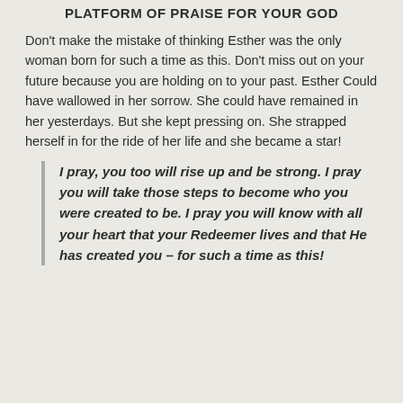PLATFORM OF PRAISE FOR YOUR GOD
Don’t make the mistake of thinking Esther was the only woman born for such a time as this. Don’t miss out on your future because you are holding on to your past. Esther Could have wallowed in her sorrow. She could have remained in her yesterdays. But she kept pressing on. She strapped herself in for the ride of her life and she became a star!
I pray, you too will rise up and be strong. I pray you will take those steps to become who you were created to be. I pray you will know with all your heart that your Redeemer lives and that He has created you – for such a time as this!